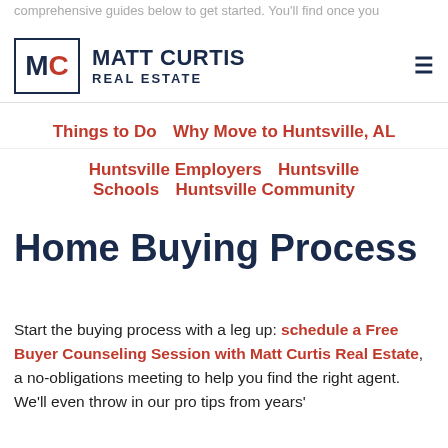comprehensive guides below to get started. You'll find once you
[Figure (logo): Matt Curtis Real Estate logo with MC monogram in a bordered box, company name in dark navy and red]
Things to Do  Why Move to Huntsville, AL  Huntsville Employers  Huntsville Schools  Huntsville Community
Home Buying Process
Start the buying process with a leg up: schedule a Free Buyer Counseling Session with Matt Curtis Real Estate, a no-obligations meeting to help you find the right agent. We'll even throw in our pro tips from years'